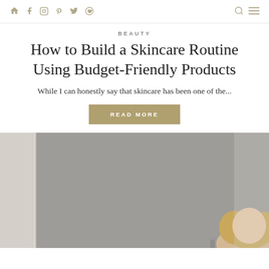Navigation bar with home, facebook, instagram, pinterest, twitter, bloglovin icons, plus search and menu icons
BEAUTY
How to Build a Skincare Routine Using Budget-Friendly Products
While I can honestly say that skincare has been one of the...
READ MORE
[Figure (photo): A photograph of a woman in a bathroom setting with a large mirror, appearing to be a lifestyle/beauty blog image]